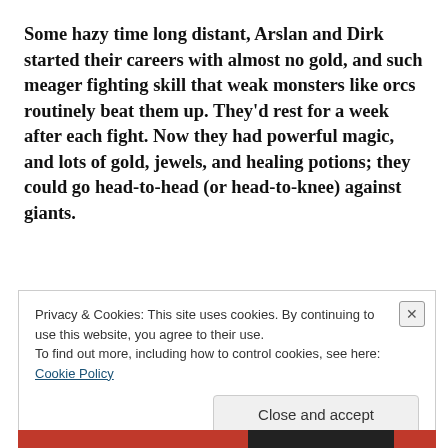Some hazy time long distant, Arslan and Dirk started their careers with almost no gold, and such meager fighting skill that weak monsters like orcs routinely beat them up. They'd rest for a week after each fight. Now they had powerful magic, and lots of gold, jewels, and healing potions; they could go head-to-head (or head-to-knee) against giants.
Privacy & Cookies: This site uses cookies. By continuing to use this website, you agree to their use. To find out more, including how to control cookies, see here: Cookie Policy
Close and accept